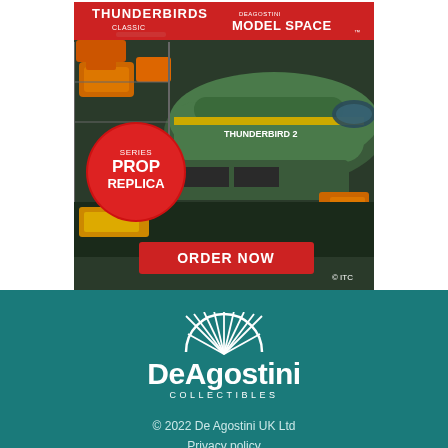[Figure (illustration): Thunderbirds Classic and DeAgostini Model Space advertisement showing Thunderbird 2 model aircraft surrounded by other Thunderbirds vehicles in a hangar setting. Features a 'SERIES PROP REPLICA' badge, 'ORDER NOW' red call-to-action button, and '© ITC' copyright notice. Red header bar at top with Thunderbirds Classic and Model Space logos.]
[Figure (logo): DeAgostini Collectibles logo in white on teal background, featuring a sunburst/rays design above the text 'DeAgostini' in large bold white font with 'COLLECTIBLES' in small spaced letters below]
© 2022 De Agostini UK Ltd
Privacy policy